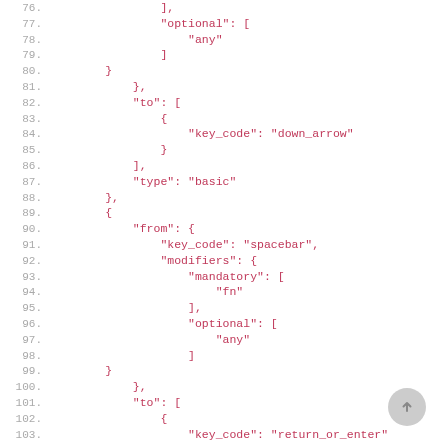Code listing lines 76-103, JSON configuration with key_code, optional, mandatory, modifiers, from, to, type fields